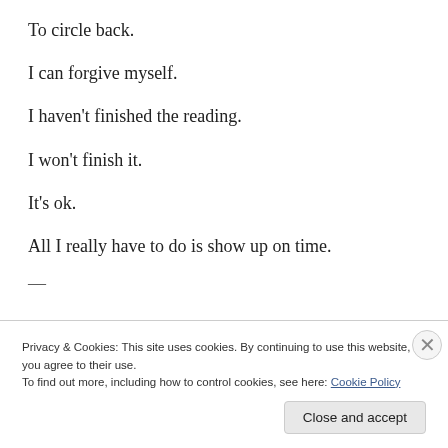To circle back.
I can forgive myself.
I haven't finished the reading.
I won't finish it.
It's ok.
All I really have to do is show up on time.
Privacy & Cookies: This site uses cookies. By continuing to use this website, you agree to their use. To find out more, including how to control cookies, see here: Cookie Policy
Close and accept